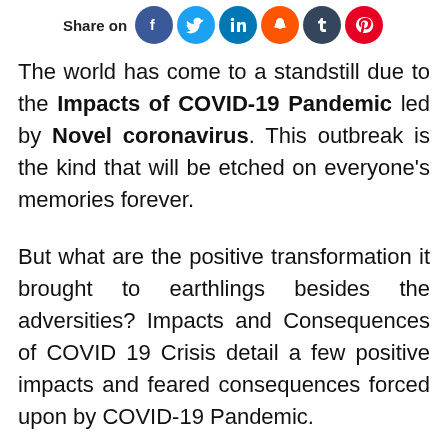Share on [social icons: Facebook, Twitter, LinkedIn, Snapchat, Tumblr, Pinterest]
The world has come to a standstill due to the Impacts of COVID-19 Pandemic led by Novel coronavirus. This outbreak is the kind that will be etched on everyone's memories forever.
But what are the positive transformation it brought to earthlings besides the adversities? Impacts and Consequences of COVID 19 Crisis detail a few positive impacts and feared consequences forced upon by COVID-19 Pandemic.